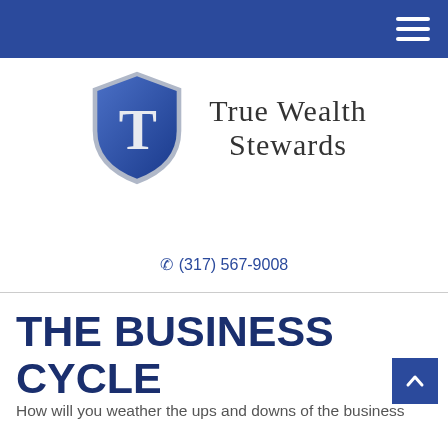Navigation bar with hamburger menu
[Figure (logo): True Wealth Stewards logo: blue shield with white T, beside the text True Wealth Stewards in serif font]
(317) 567-9008
THE BUSINESS CYCLE
How will you weather the ups and downs of the business cycle?